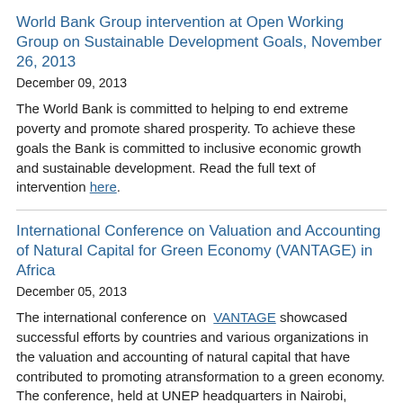World Bank Group intervention at Open Working Group on Sustainable Development Goals, November 26, 2013
December 09, 2013
The World Bank is committed to helping to end extreme poverty and promote shared prosperity. To achieve these goals the Bank is committed to inclusive economic growth and sustainable development. Read the full text of intervention here.
International Conference on Valuation and Accounting of Natural Capital for Green Economy (VANTAGE) in Africa
December 05, 2013
The international conference on VANTAGE showcased successful efforts by countries and various organizations in the valuation and accounting of natural capital that have contributed to promoting atransformation to a green economy. The conference, held at UNEP headquarters in Nairobi, Kenya,